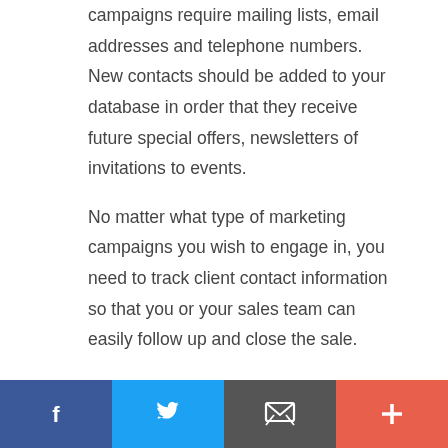campaigns require mailing lists, email addresses and telephone numbers. New contacts should be added to your database in order that they receive future special offers, newsletters of invitations to events.
No matter what type of marketing campaigns you wish to engage in, you need to track client contact information so that you or your sales team can easily follow up and close the sale.
[Figure (infographic): Row of social media share buttons: Facebook (blue), Twitter (blue), Email/share (dark gray), Pinterest (red), Plus/more (orange-red)]
[Figure (infographic): Cookie consent banner: 'By continuing to use this site, you agree to the use of cookies.' with 'more info' link and 'GOT IT!' button]
[Figure (infographic): Bottom sticky social share bar with four sections: Facebook (dark blue), Twitter (light blue), Email (dark gray), Plus (orange-red)]